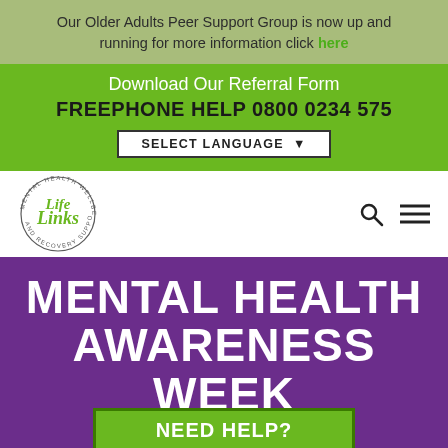Our Older Adults Peer Support Group is now up and running for more information click here
Download Our Referral Form
FREEPHONE HELP 0800 0234 575
SELECT LANGUAGE
[Figure (logo): Life Links Mental Health Wellbeing and Recovery Support circular logo with green cursive text]
MENTAL HEALTH AWARENESS WEEK 2020
NEED HELP?
CARERS CENTRE